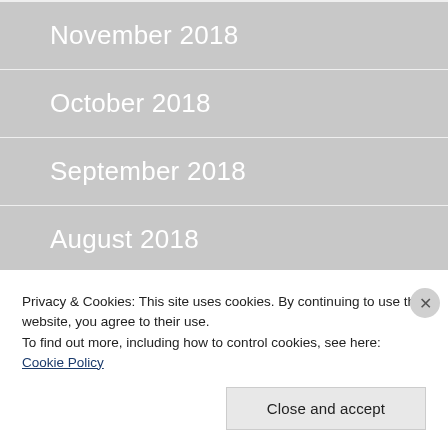November 2018
October 2018
September 2018
August 2018
July 2018
June 2018
Privacy & Cookies: This site uses cookies. By continuing to use this website, you agree to their use.
To find out more, including how to control cookies, see here: Cookie Policy